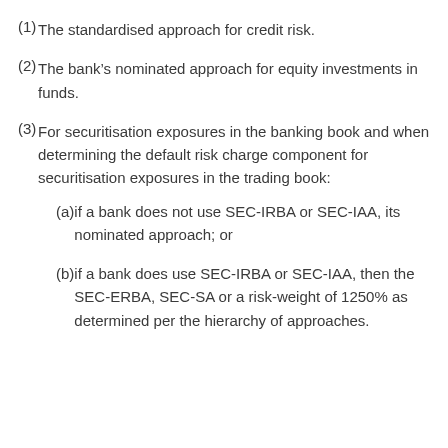(1) The standardised approach for credit risk.
(2) The bank’s nominated approach for equity investments in funds.
(3) For securitisation exposures in the banking book and when determining the default risk charge component for securitisation exposures in the trading book:
(a) if a bank does not use SEC-IRBA or SEC-IAA, its nominated approach; or
(b) if a bank does use SEC-IRBA or SEC-IAA, then the SEC-ERBA, SEC-SA or a risk-weight of 1250% as determined per the hierarchy of approaches.